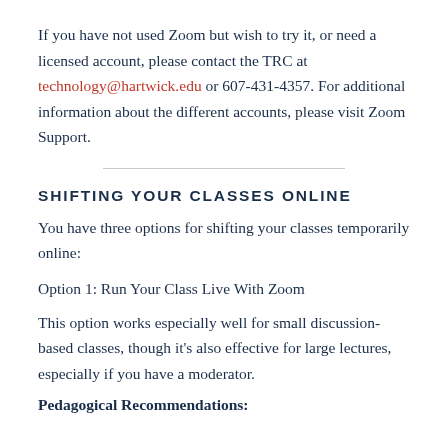If you have not used Zoom but wish to try it, or need a licensed account, please contact the TRC at technology@hartwick.edu or 607-431-4357. For additional information about the different accounts, please visit Zoom Support.
SHIFTING YOUR CLASSES ONLINE
You have three options for shifting your classes temporarily online:
Option 1: Run Your Class Live With Zoom
This option works especially well for small discussion-based classes, though it's also effective for large lectures, especially if you have a moderator.
Pedagogical Recommendations: